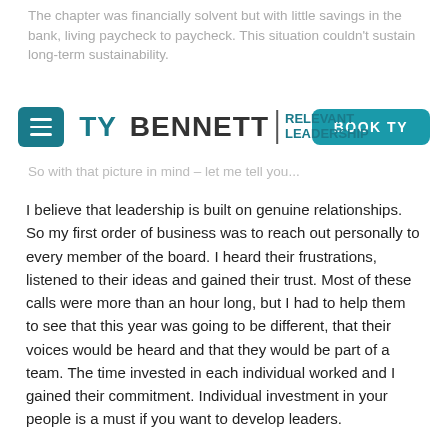The chapter was financially solvent but with little savings in the bank, living paycheck to paycheck. This situation couldn't sustain long-term sustainability.
[Figure (logo): Ty Bennett Relevant Leadership logo with hamburger menu button and BOOK TY button]
So with that picture in mind – let me tell you...
I believe that leadership is built on genuine relationships. So my first order of business was to reach out personally to every member of the board. I heard their frustrations, listened to their ideas and gained their trust. Most of these calls were more than an hour long, but I had to help them to see that this year was going to be different, that their voices would be heard and that they would be part of a team. The time invested in each individual worked and I gained their commitment. Individual investment in your people is a must if you want to develop leaders.
Next I solicited their ideas and polled the membership as a whole to see what ideas/changes people were looking for. I firmly believe that People Support What They Help Create.